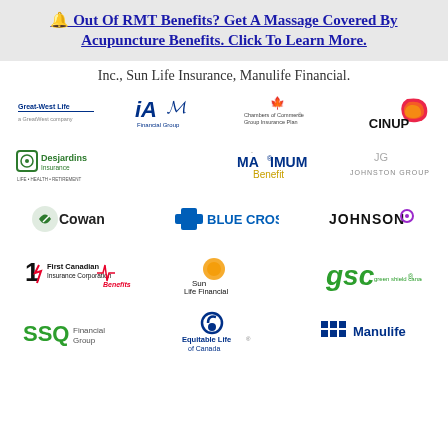🔔 Out Of RMT Benefits? Get A Massage Covered By Acupuncture Benefits. Click To Learn More.
Inc., Sun Life Insurance, Manulife Financial.
[Figure (logo): Grid of insurance company logos: Great-West Life, iA Financial Group, Chambers of Commerce Group Insurance Plan, CINUP, Desjardins Insurance, Maximum Benefit, Johnston Group, Cowan, Blue Cross, Johnson, First Canadian Insurance Corporation, Benefits (red), Sun Life Financial, GSC Green Shield Canada, SSQ Financial Group, Equitable Life of Canada, Manulife]